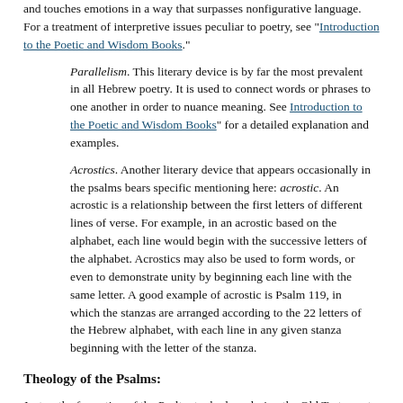and touches emotions in a way that surpasses nonfigurative language. For a treatment of interpretive issues peculiar to poetry, see "Introduction to the Poetic and Wisdom Books."
Parallelism. This literary device is by far the most prevalent in all Hebrew poetry. It is used to connect words or phrases to one another in order to nuance meaning. See Introduction to the Poetic and Wisdom Books" for a detailed explanation and examples.
Acrostics. Another literary device that appears occasionally in the psalms bears specific mentioning here: acrostic. An acrostic is a relationship between the first letters of different lines of verse. For example, in an acrostic based on the alphabet, each line would begin with the successive letters of the alphabet. Acrostics may also be used to form words, or even to demonstrate unity by beginning each line with the same letter. A good example of acrostic is Psalm 119, in which the stanzas are arranged according to the 22 letters of the Hebrew alphabet, with each line in any given stanza beginning with the letter of the stanza.
Theology of the Psalms:
Just as the formation of the Psalter took place during the Old Testament period as a whole, so the theology of the Psalter is as